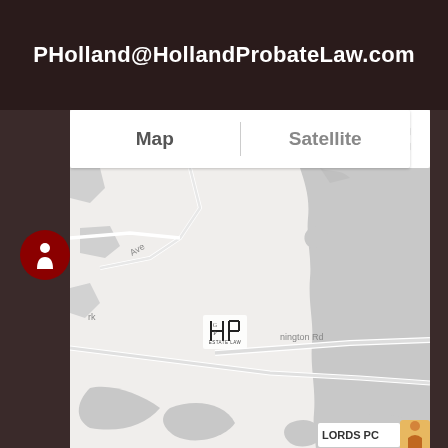PHolland@HollandProbateLaw.com
[Figure (screenshot): Google Maps embedded map view showing a street map with Map/Satellite toggle buttons at top, a fullscreen button, a pegman street view icon on the left, a Holland Probate Law map marker, a road labeled 'nington Rd', and a LORDS PC label at the bottom right. The map shows roads and water/park areas in grey tones.]